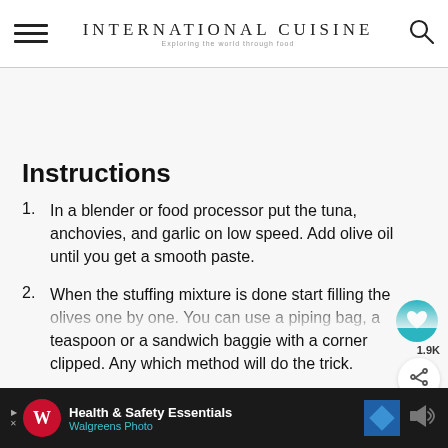INTERNATIONAL CUISINE — Exploring the world through food
Instructions
In a blender or food processor put the tuna, anchovies, and garlic on low speed. Add olive oil until you get a smooth paste.
When the stuffing mixture is done start filling the olives one by one. You can use a piping bag, a teaspoon or a sandwich baggie with a corner clipped. Any which method will do the trick.
Watch them disappear. You can use any extra
Health & Safety Essentials — Walgreens Photo